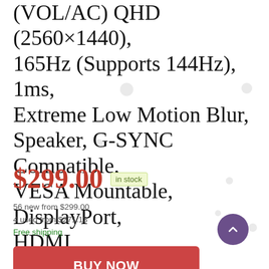(VOL/AC) QHD (2560×1440), 165Hz (Supports 144Hz), 1ms, Extreme Low Motion Blur, Speaker, G-SYNC Compatible, VESA Mountable, DisplayPort, HDMI
$299.00  in stock
56 new from $299.00
4 used from $271.13
Free shipping
BUY NOW
Amazon.com